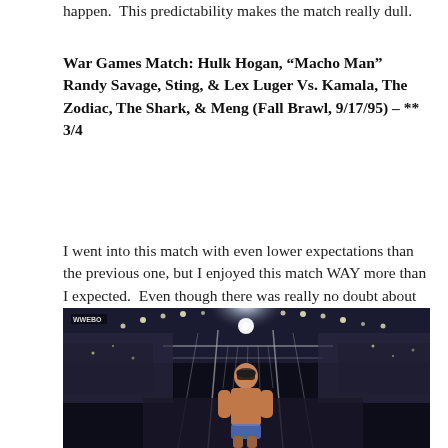happen.  This predictability makes the match really dull.
War Games Match: Hulk Hogan, “Macho Man” Randy Savage, Sting, & Lex Luger Vs. Kamala, The Zodiac, The Shark, & Meng (Fall Brawl, 9/17/95) – ** 3/4
I went into this match with even lower expectations than the previous one, but I enjoyed this match WAY more than I expected.  Even though there was really no doubt about the victor here, the Dungeon of Doom actually look like credible threats to “The Hulkamaniacs”.  May not be a technical masterpiece, but you will have fun watching this one.
[Figure (photo): A wrestler standing in front of a steel cage structure in an arena at night, wearing a mask, shirtless, with arena lights and crowd visible in the background. WWEBio watermark in top left.]